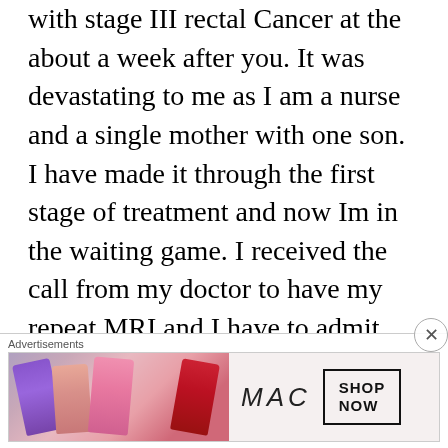with stage III rectal Cancer at the about a week after you. It was devastating to me as I am a nurse and a single mother with one son. I have made it through the first stage of treatment and now Im in the waiting game. I received the call from my doctor to have my repeat MRI and I have to admit I'm shaking in my boots. Your words have rung so true for me. The scans, the doctor appointments, the treatments, it's all so scary and I still feel like Im just to young for all this. Good luck on the 23rd. You will
Advertisements
[Figure (photo): MAC cosmetics advertisement showing lipsticks in purple, peach, pink, and red colors with MAC logo and SHOP NOW call-to-action button]